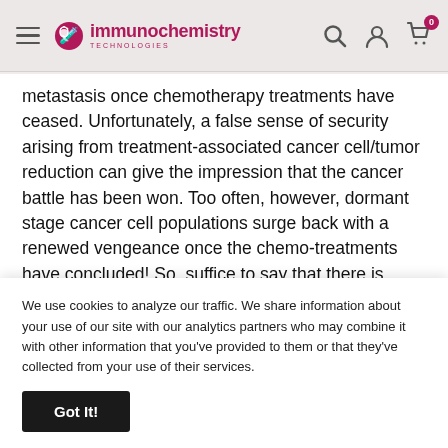Immunochemistry Technologies
metastasis once chemotherapy treatments have ceased. Unfortunately, a false sense of security arising from treatment-associated cancer cell/tumor reduction can give the impression that the cancer battle has been won. Too often, however, dormant stage cancer cell populations surge back with a renewed vengeance once the chemo-treatments have concluded! So, suffice to say that there is ample justification for seeking out a pharmaceutical autophagy inhibitor(s) solution to be used as a standalone treatment or in tandem with
We use cookies to analyze our traffic. We share information about your use of our site with our analytics partners who may combine it with other information that you've provided to them or that they've collected from your use of their services.
II/III clinical trials for their benefit in cancer therapy